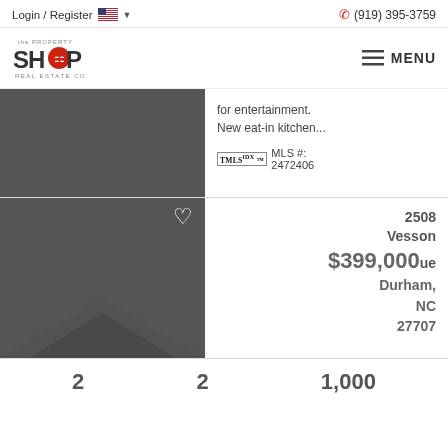Login / Register  (919) 395-3759
[Figure (logo): The Property Shop Real Estate Co. logo]
for entertainment. New eat-in kitchen...
TMLS IDX™  MLS #: 2472406
2508 Vesson Avenue Durham, NC 27707
$399,000
2  2  1,000